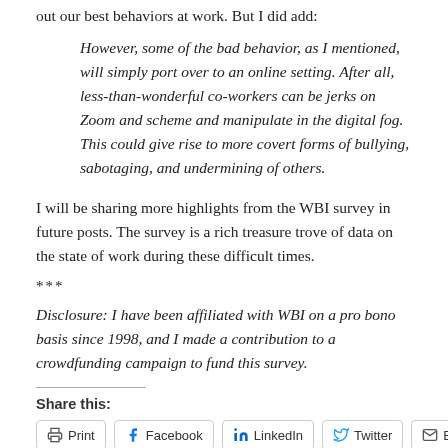out our best behaviors at work. But I did add:
However, some of the bad behavior, as I mentioned, will simply port over to an online setting. After all, less-than-wonderful co-workers can be jerks on Zoom and scheme and manipulate in the digital fog. This could give rise to more covert forms of bullying, sabotaging, and undermining of others.
I will be sharing more highlights from the WBI survey in future posts. The survey is a rich treasure trove of data on the state of work during these difficult times.
***
Disclosure: I have been affiliated with WBI on a pro bono basis since 1998, and I made a contribution to a crowdfunding campaign to fund this survey.
Share this:
Print  Facebook  LinkedIn  Twitter  Email
Loading